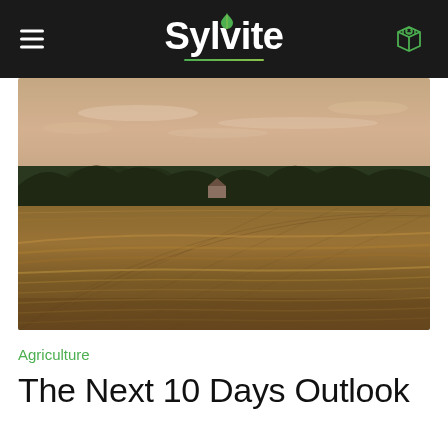Sylvite
[Figure (photo): Golden wheat field with trees in background at sunset/dusk, warm golden light across rippling grain stalks, distant treeline and muted pink sky]
Agriculture
The Next 10 Days Outlook